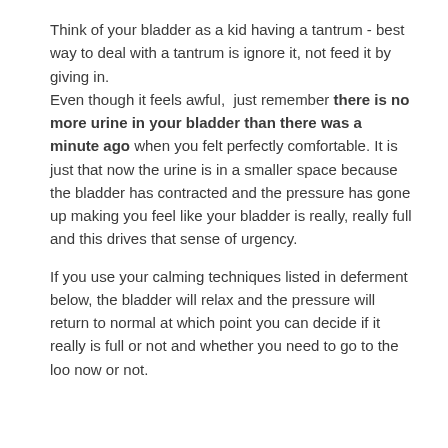Think of your bladder as a kid having a tantrum - best way to deal with a tantrum is ignore it, not feed it by giving in. Even though it feels awful,  just remember there is no more urine in your bladder than there was a minute ago when you felt perfectly comfortable. It is just that now the urine is in a smaller space because the bladder has contracted and the pressure has gone up making you feel like your bladder is really, really full and this drives that sense of urgency.
If you use your calming techniques listed in deferment below, the bladder will relax and the pressure will return to normal at which point you can decide if it really is full or not and whether you need to go to the loo now or not.